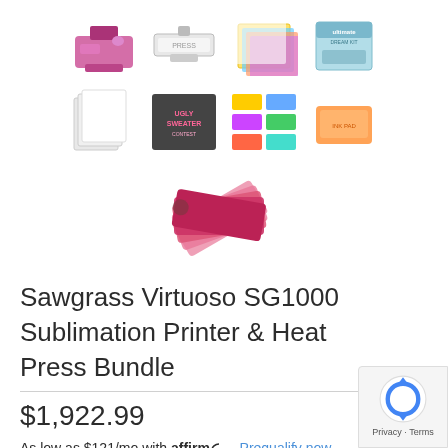[Figure (photo): Row 1 of product thumbnail images: sublimation printer (pink/purple), flat heat press (white/grey), stack of paper/cards, and a blue/teal gift/kit box]
[Figure (photo): Row 2 of product thumbnail images: blank white paper stack, sweater/apparel graphic, colorful label set grid, and orange/pink ink pad]
[Figure (photo): Row 3: fanned pink gift cards/vouchers stacked diagonally]
Sawgrass Virtuoso SG1000 Sublimation Printer & Heat Press Bundle
$1,922.99
As low as $121/mo with affirm . Prequalify now